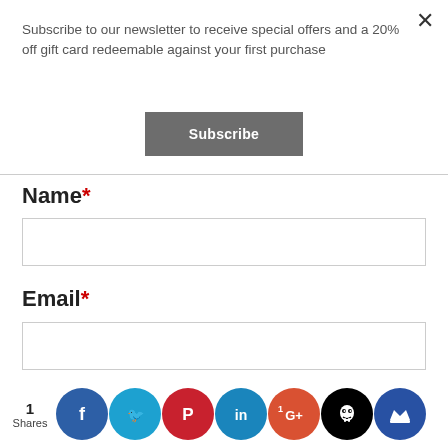Subscribe to our newsletter to receive special offers and a 20% off gift card redeemable against your first purchase
×
Subscribe
Name*
Email*
Website
1 Shares